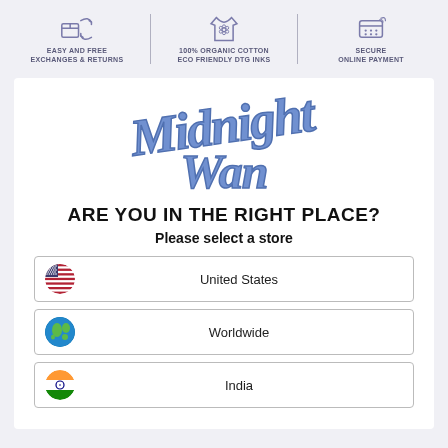[Figure (infographic): Top banner with three icons and labels: 'Easy and Free Exchanges & Returns', '100% Organic Cotton Eco Friendly DTG Inks', 'Secure Online Payment']
[Figure (logo): Midnight Wan logo in stylized blue lettering]
ARE YOU IN THE RIGHT PLACE?
Please select a store
United States
Worldwide
India